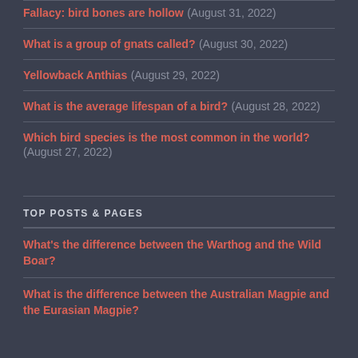Fallacy: bird bones are hollow (August 31, 2022)
What is a group of gnats called? (August 30, 2022)
Yellowback Anthias (August 29, 2022)
What is the average lifespan of a bird? (August 28, 2022)
Which bird species is the most common in the world? (August 27, 2022)
TOP POSTS & PAGES
What's the difference between the Warthog and the Wild Boar?
What is the difference between the Australian Magpie and the Eurasian Magpie?